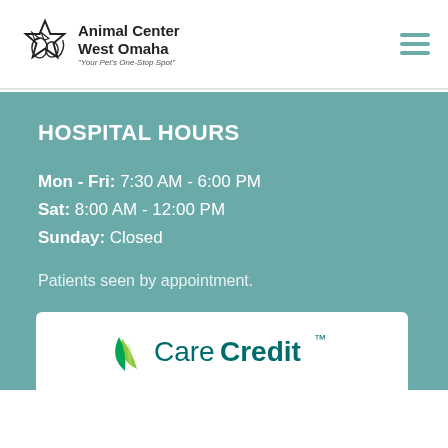Animal Center West Omaha — Your Pet's One-Stop Spot
HOSPITAL HOURS
Mon - Fri: 7:30 AM - 6:00 PM
Sat: 8:00 AM - 12:00 PM
Sunday: Closed
Patients seen by appointment.
[Figure (logo): CareCredit logo with green leaf icon and teal CareCredit™ wordmark]